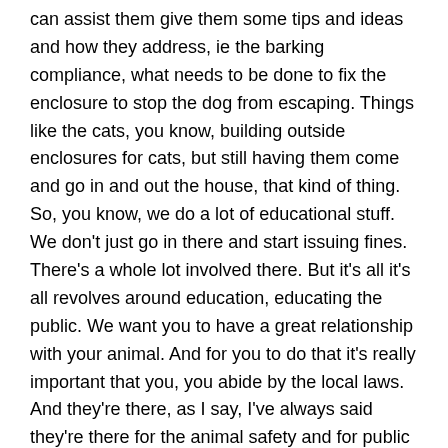can assist them give them some tips and ideas and how they address, ie the barking compliance, what needs to be done to fix the enclosure to stop the dog from escaping. Things like the cats, you know, building outside enclosures for cats, but still having them come and go in and out the house, that kind of thing. So, you know, we do a lot of educational stuff. We don't just go in there and start issuing fines. There's a whole lot involved there. But it's all it's all revolves around education, educating the public. We want you to have a great relationship with your animal. And for you to do that it's really important that you, you abide by the local laws. And they're there, as I say, I've always said they're there for the animal safety and for public safety as well.
Dana Maggacis 13:25
And finally, what is your favourite thing about your job?